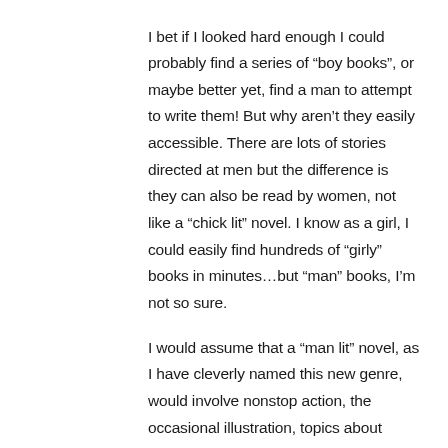I bet if I looked hard enough I could probably find a series of “boy books”, or maybe better yet, find a man to attempt to write them! But why aren’t they easily accessible. There are lots of stories directed at men but the difference is they can also be read by women, not like a “chick lit” novel. I know as a girl, I could easily find hundreds of “girly” books in minutes…but “man” books, I’m not so sure.
I would assume that a “man lit” novel, as I have cleverly named this new genre, would involve nonstop action, the occasional illustration, topics about gross food and music. Maybe they don’t exist